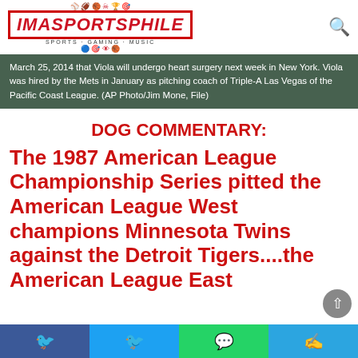IMASPORTSPHILE
March 25, 2014 that Viola will undergo heart surgery next week in New York. Viola was hired by the Mets in January as pitching coach of Triple-A Las Vegas of the Pacific Coast League. (AP Photo/Jim Mone, File)
DOG COMMENTARY:
The 1987 American League Championship Series pitted the American League West champions Minnesota Twins against the Detroit Tigers....the American League East